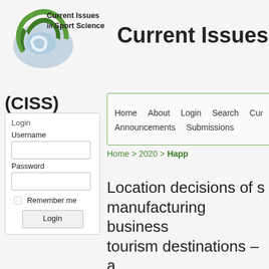[Figure (logo): Current Issues in Sport Science journal logo — a spiral green and grey disc shape with text]
Current Issues
(CISS)
Login
Username
Password
Remember me
Login
Home   About   Login   Search   Cur...
Announcements   Submissions
Home > 2020 > Happ
Location decisions of s... manufacturing business... tourism destinations – a...